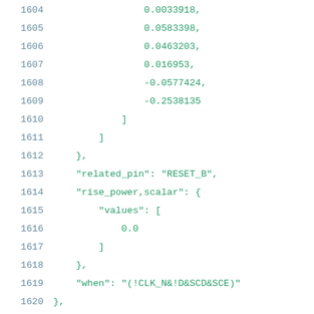Code listing lines 1604-1625 showing JSON/Liberty file data with numeric values and properties including related_pin, rise_power, values, when, fall_power, index_1 fields.